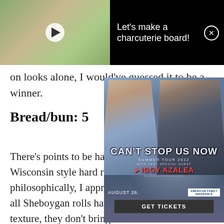[Figure (screenshot): Video thumbnail of a woman in an apron making a charcuterie board at a kitchen table, with a play button overlay. The video player is on a black background with title text.]
Let's make a charcuterie board!
on looks alone, I would've guessed it to be a winner.
Bread/bun: 5
[Figure (photo): Concert advertisement overlay for 'Can't Stop Us Now Summer Tour 2022' with Pitbull and Iggy Azalea. Features two figures (a blonde woman and a bald man) with text 'CAN'T STOP US NOW', 'SUMMER TOUR 2022', 'WITH VERY SPECIAL GUEST', 'IGGY AZALEA', 'GLOBETROTATION DAYS', 'AUGUST 26', 'GET TICKETS', and American Family Insurance logo.]
There's points to be had in offering up a classic Wisconsin style hard roll with a burger, so philosophically, I appreciate the idea. But, for all Sheboygan rolls have going on in terms of texture, they don't bring a lot of flavor to the table. And as you'll see if you keep reading, this burger